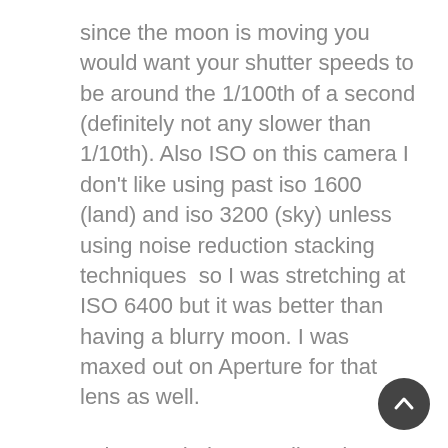since the moon is moving you would want your shutter speeds to be around the 1/100th of a second (definitely not any slower than 1/10th). Also ISO on this camera I don't like using past iso 1600 (land) and iso 3200 (sky) unless using noise reduction stacking techniques  so I was stretching at ISO 6400 but it was better than having a blurry moon. I was maxed out on Aperture for that lens as well.
I also needed to re-adjust the composition manually to track the moon about every 10 minutes. I would simply place the moon in the bottom left third of the frame and after ten minutes it was in the top right of fram… repeating this process throughout the